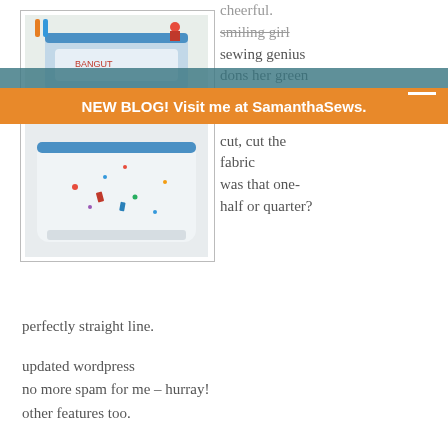[Figure (photo): Two photos of a small zippered pouch/bag. Top photo shows the front of the bag with colorful decorations and text. Bottom photo shows the bottom/back of the bag, white fabric with small colorful prints.]
NEW BLOG! Visit me at SamanthaSews.
cheerful.
smiling girl
sewing genius
dons her green
apron.

cut, cut the
fabric
was that one-
half or quarter?

perfectly straight line.
updated wordpress
no more spam for me – hurray!
other features too.

must speak in haiku
no time for a real posting
maybe tomorrow.
(or tuesday.)